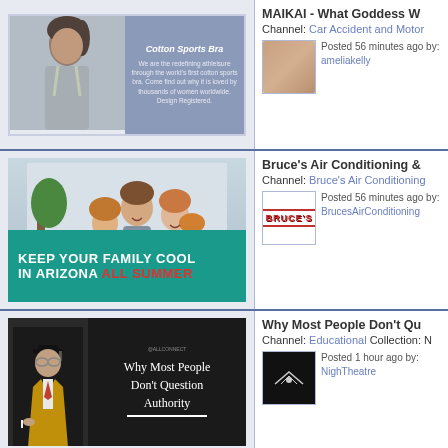[Figure (screenshot): Video listing row 1: Cotton Sports Bra thumbnail with woman in sports bra and blue-grey text panel]
MAIKAI - What Goddess W...
Channel: Car Accident and Motor...
Posted 56 minutes ago by: ameliakelly
[Figure (screenshot): Video listing row 2: Bruce's Air Conditioning ad with family photo and teal banner: KEEP YOUR FAMILY COOL IN ARIZONA ALL SUMMER]
Bruce's Air Conditioning &...
Channel: Bruce's Air Conditioning...
Posted 56 minutes ago by: BrucesAirConditioning...
[Figure (screenshot): Video listing row 3: Why Most People Don't Question Authority thumbnail with professor figure on dark background]
Why Most People Don't Qu...
Channel: Educational Collection: N...
Posted 1 hour ago by: NighTheatre